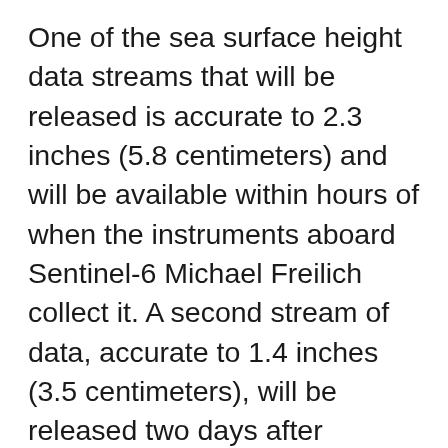One of the sea surface height data streams that will be released is accurate to 2.3 inches (5.8 centimeters) and will be available within hours of when the instruments aboard Sentinel-6 Michael Freilich collect it. A second stream of data, accurate to 1.4 inches (3.5 centimeters), will be released two days after collection. The difference in when the products become available balances accuracy with delivery timeliness for tasks like forecasting the weather and helping to monitor the formation of hurricanes. More datasets, which will be accurate to about 1.2 inches (2.9 centimeters), are slated for distribution later this year and are intended for research activities and climate